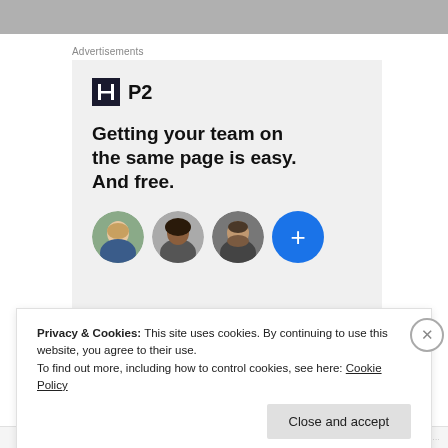[Figure (photo): Gray top image bar, partially visible]
Advertisements
[Figure (infographic): P2 advertisement with logo, headline 'Getting your team on the same page is easy. And free.' and three person avatars plus a blue plus button]
Privacy & Cookies: This site uses cookies. By continuing to use this website, you agree to their use.
To find out more, including how to control cookies, see here: Cookie Policy
Close and accept